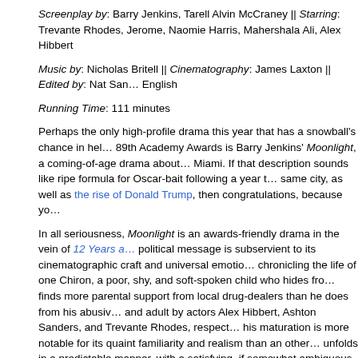Screenplay by: Barry Jenkins, Tarell Alvin McCraney || Starring: Trevante Rhodes, Jerome, Naomie Harris, Mahershala Ali, Alex Hibbert
Music by: Nicholas Britell || Cinematography: James Laxton || Edited by: Nat Sanders English
Running Time: 111 minutes
Perhaps the only high-profile drama this year that has a snowball's chance in hell at the 89th Academy Awards is Barry Jenkins' Moonlight, a coming-of-age drama about Miami. If that description sounds like ripe formula for Oscar-bait following a year t same city, as well as the rise of Donald Trump, then congratulations, because you...
In all seriousness, Moonlight is an awards-friendly drama in the vein of 12 Years a... political message is subservient to its cinematographic craft and universal emotions, chronicling the life of one Chiron, a poor, shy, and soft-spoken child who hides from finds more parental support from local drug-dealers than he does from his abusive... and adult by actors Alex Hibbert, Ashton Sanders, and Trevante Rhodes, respectively, his maturation is more notable for its quaint familiarity and realism than an otherwise unfolds in a predictable manner, with a satisfying, if somewhat ambiguous ending...
Moonlight's primary appeal lies in its direction and James Laxton's beautiful cinematography. Comparisons to Steve McQueen are appropriate, but Jenkins balances intimate, handheld close-ups with a
[Figure (photo): A photograph, partially visible, showing what appears to be a dark outdoor scene with some light-colored objects or figures at the bottom.]